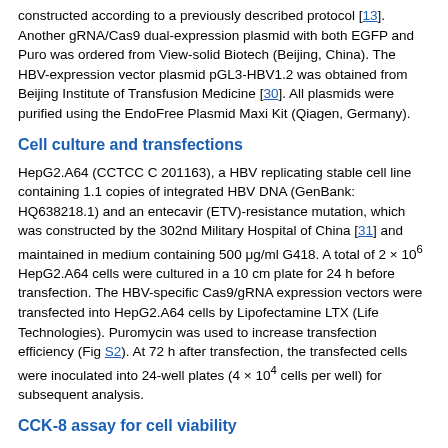constructed according to a previously described protocol [13]. Another gRNA/Cas9 dual-expression plasmid with both EGFP and Puro was ordered from View-solid Biotech (Beijing, China). The HBV-expression vector plasmid pGL3-HBV1.2 was obtained from Beijing Institute of Transfusion Medicine [30]. All plasmids were purified using the EndoFree Plasmid Maxi Kit (Qiagen, Germany).
Cell culture and transfections
HepG2.A64 (CCTCC C 201163), a HBV replicating stable cell line containing 1.1 copies of integrated HBV DNA (GenBank: HQ638218.1) and an entecavir (ETV)-resistance mutation, which was constructed by the 302nd Military Hospital of China [31] and maintained in medium containing 500 μg/ml G418. A total of 2 × 10^6 HepG2.A64 cells were cultured in a 10 cm plate for 24 h before transfection. The HBV-specific Cas9/gRNA expression vectors were transfected into HepG2.A64 cells by Lipofectamine LTX (Life Technologies). Puromycin was used to increase transfection efficiency (Fig S2). At 72 h after transfection, the transfected cells were inoculated into 24-well plates (4 × 10^4 cells per well) for subsequent analysis.
CCK-8 assay for cell viability
Viability of cells was assessed using the Cell Counting Kit-8 (Dojindo). Cells were inoculated into 48-well plates at densities ranging from 1 × 10^4 to 2 × 10^4 cells/well. CCK-8 and medium were mixed at a ratio of 1:10 per well in a clean 1.5 ml tube. The medium was discarded, and the cells were washed with PBS. Premixed CCK-8 and medium were added to 48-well plates and incubated at 37°C for 0.5-1 h. Absorbance at 450 nm (A450)